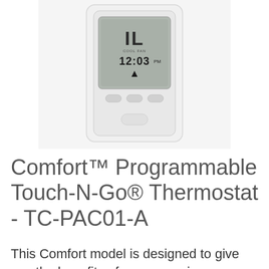[Figure (photo): A white programmable thermostat (Comfort Touch-N-Go TC-PAC01-A) mounted on a wall, showing a digital display with time 12:03 PM and three buttons below the screen.]
Comfort™ Programmable Touch-N-Go® Thermostat - TC-PAC01-A
This Comfort model is designed to give you the benefits of energy saving